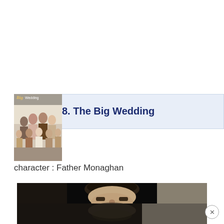[Figure (photo): Movie poster for 'The Big Wedding' showing a group of people, with the stylized movie title text]
8. The Big Wedding
character : Father Monaghan
[Figure (photo): Still image from the movie showing a man's face, dark background, with a mirrored reflection below]